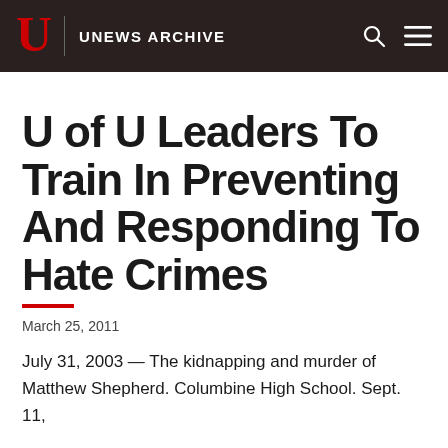U | UNEWS ARCHIVE
U of U Leaders To Train In Preventing And Responding To Hate Crimes
March 25, 2011
July 31, 2003 — The kidnapping and murder of Matthew Shepherd. Columbine High School. Sept. 11,